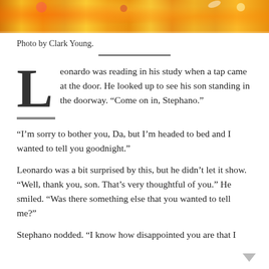[Figure (photo): Colorful orange and yellow image strip at the top of the page, appears to be a cropped photo of brightly colored snack packaging or similar product]
Photo by Clark Young.
Leonardo was reading in his study when a tap came at the door. He looked up to see his son standing in the doorway. “Come on in, Stephano.”
“I’m sorry to bother you, Da, but I’m headed to bed and I wanted to tell you goodnight.”
Leonardo was a bit surprised by this, but he didn’t let it show. “Well, thank you, son. That’s very thoughtful of you.” He smiled. “Was there something else that you wanted to tell me?”
Stephano nodded. “I know how disappointed you are that I